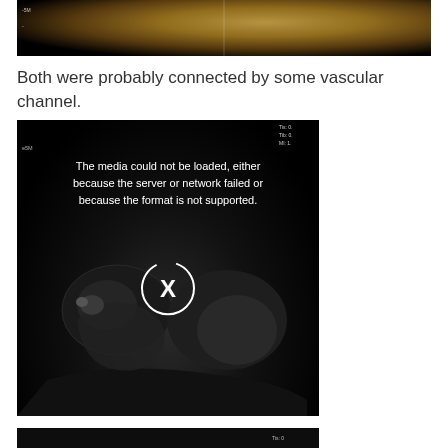[Figure (photo): Ultrasound image (top portion) showing echocardiographic scan with golden/yellow tissue appearance on black background]
Both were probably connected by some vascular channel.
[Figure (photo): Ultrasound/echocardiogram video player showing a failed media load error message: 'The media could not be loaded, either because the server or network failed or because the format is not supported.' with an X button circle overlay on a dark ultrasound image of what appears to be a fetal or cardiac scan]
[Figure (photo): Bottom partial ultrasound image strip (partially visible)]